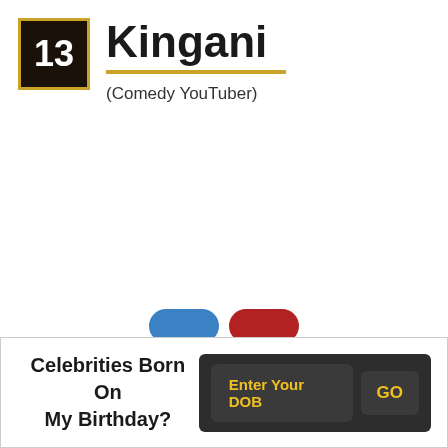13 Kingani
(Comedy YouTuber)
[Figure (other): Partially visible blue and red rounded social media share buttons]
Celebrities Born On My Birthday?
Enter Your DOB  GO